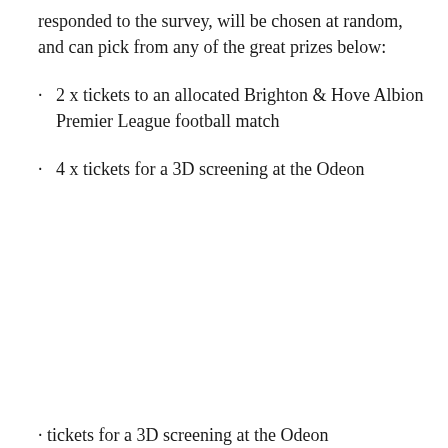responded to the survey, will be chosen at random, and can pick from any of the great prizes below:
2 x tickets to an allocated Brighton & Hove Albion Premier League football match
4 x tickets for a 3D screening at the Odeon
· tickets for a 3D screening at the Odeon